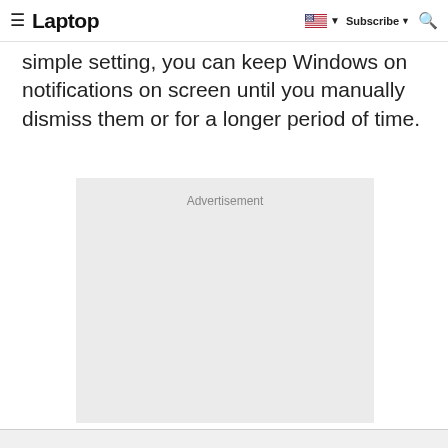Laptop | Subscribe
simple setting, you can keep Windows on notifications on screen until you manually dismiss them or for a longer period of time.
[Figure (other): Advertisement placeholder box with gray background and 'Advertisement' label text centered at top]